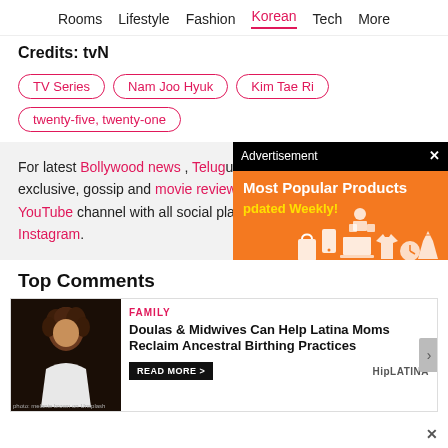Rooms  Lifestyle  Fashion  Korean  Tech  More
Credits: tvN
TV Series
Nam Joo Hyuk
Kim Tae Ri
twenty-five, twenty-one
For latest Bollywood news , Telugu exclusive, gossip and movie reviews. YouTube channel with all social platforms. Instagram.
[Figure (screenshot): Advertisement overlay with orange background showing 'Most Popular Products' and 'Updated Weekly!' text with shopping icons]
Top Comments
[Figure (photo): Promotional card showing a person with curly hair in white dress, with FAMILY category label]
FAMILY
Doulas & Midwives Can Help Latina Moms Reclaim Ancestral Birthing Practices
READ MORE >
HipLATINA